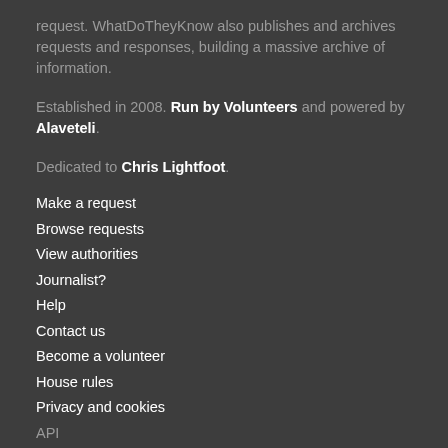request. WhatDoTheyKnow also publishes and archives requests and responses, building a massive archive of information.
Established in 2008. Run by Volunteers and powered by Alaveteli.
Dedicated to Chris Lightfoot.
Make a request
Browse requests
View authorities
Journalist?
Help
Contact us
Become a volunteer
House rules
Privacy and cookies
API